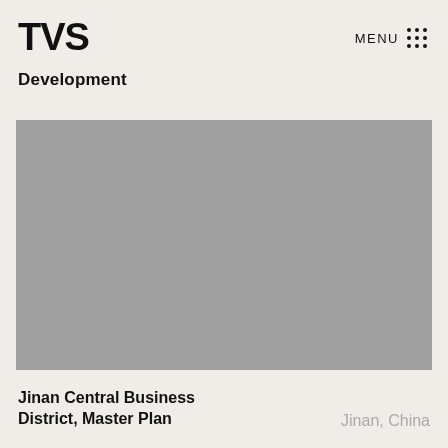TVS
MENU :::
Development
[Figure (photo): Large rectangular gray placeholder image representing a project photo for Jinan Central Business District, Master Plan]
Jinan Central Business District, Master Plan
Jinan, China